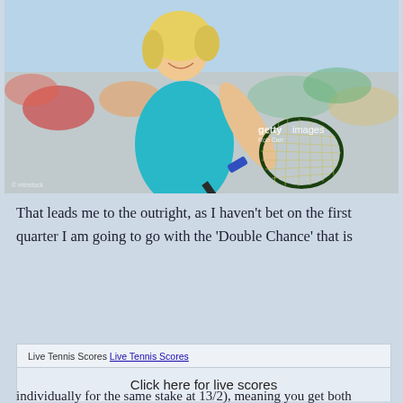[Figure (photo): Female tennis player in teal/turquoise outfit swinging a tennis racket, smiling, with a crowd in the background. Getty Images watermark visible.]
That leads me to the outright, as I haven't bet on the first quarter I am going to go with the 'Double Chance' that is
Live Tennis Scores Live Tennis Scores
Click here for live scores
individually for the same stake at 13/2), meaning you get both